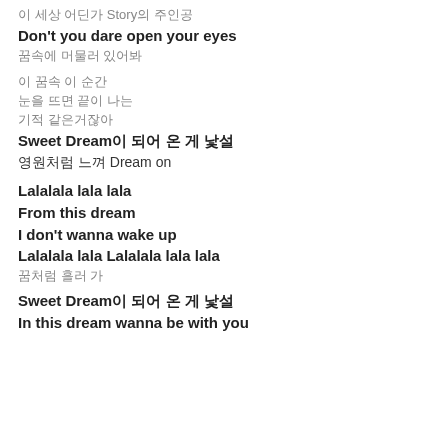이 세상 어딘가 Story의 주인공
Don't you dare open your eyes
꿈속에 머물러 있어봐
이 꿈속 이 순간
눈을 뜨면 끝이 나는
기적 같은거잖아
Sweet Dream이 되어 온 게 낯설
영원처럼 느껴 Dream on
Lalalala lala lala
From this dream
I don't wanna wake up
Lalalala lala Lalalala lala lala
꿈처럼 흘러 가
Sweet Dream이 되어 온 게 낯설
In this dream wanna be with you